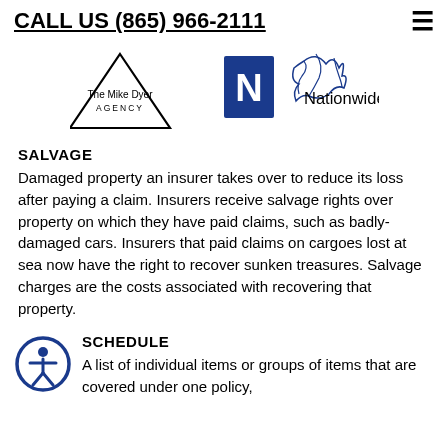CALL US (865) 966-2111
[Figure (logo): The Mike Dyer Agency logo (triangle outline with text) and Nationwide logo (eagle with N and 'Nationwide' text)]
SALVAGE
Damaged property an insurer takes over to reduce its loss after paying a claim. Insurers receive salvage rights over property on which they have paid claims, such as badly-damaged cars. Insurers that paid claims on cargoes lost at sea now have the right to recover sunken treasures. Salvage charges are the costs associated with recovering that property.
[Figure (illustration): Accessibility icon: person in circle, blue outline]
SCHEDULE
A list of individual items or groups of items that are covered under one policy,